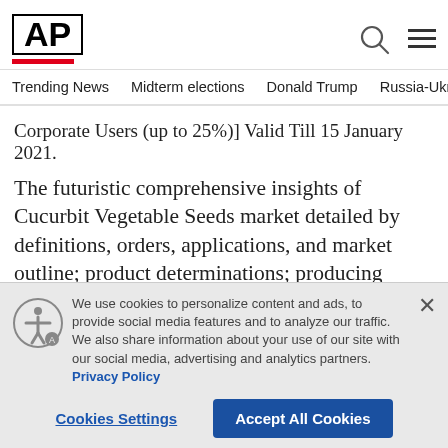AP
Trending News  Midterm elections  Donald Trump  Russia-Ukr
Corporate Users (up to 25%)] Valid Till 15 January 2021.
The futuristic comprehensive insights of Cucurbit Vegetable Seeds market detailed by definitions, orders, applications, and market outline; product determinations; producing forms; cost structures, crude materials, etc. At that point, it investigated the worlds
We use cookies to personalize content and ads, to provide social media features and to analyze our traffic. We also share information about your use of our site with our social media, advertising and analytics partners. Privacy Policy
Cookies Settings
Accept All Cookies